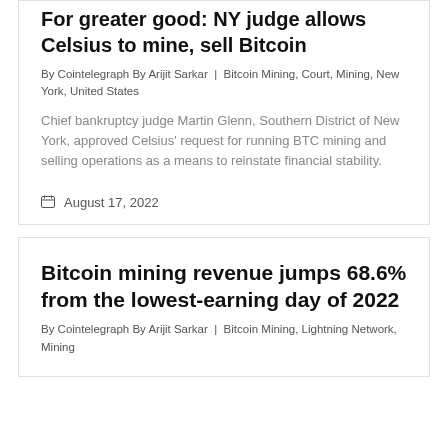For greater good: NY judge allows Celsius to mine, sell Bitcoin
By Cointelegraph By Arijit Sarkar | Bitcoin Mining, Court, Mining, New York, United States
Chief bankruptcy judge Martin Glenn, Southern District of New York, approved Celsius’ request for running BTC mining and selling operations as a means to reinstate financial stability.
August 17, 2022
Bitcoin mining revenue jumps 68.6% from the lowest-earning day of 2022
By Cointelegraph By Arijit Sarkar | Bitcoin Mining, Lightning Network, Mining